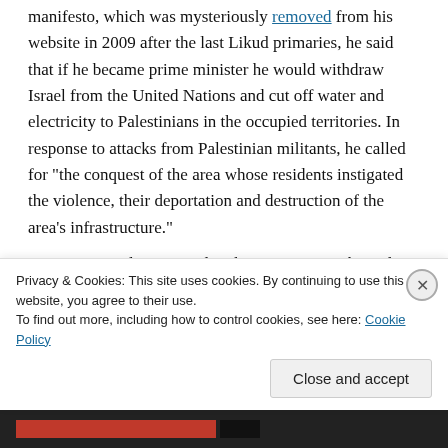manifesto, which was mysteriously removed from his website in 2009 after the last Likud primaries, he said that if he became prime minister he would withdraw Israel from the United Nations and cut off water and electricity to Palestinians in the occupied territories. In response to attacks from Palestinian militants, he called for "the conquest of the area whose residents instigated the violence, their deportation and destruction of the area's infrastructure."
In 2004, Feiglin summed up his views on Arabs and
Privacy & Cookies: This site uses cookies. By continuing to use this website, you agree to their use.
To find out more, including how to control cookies, see here: Cookie Policy